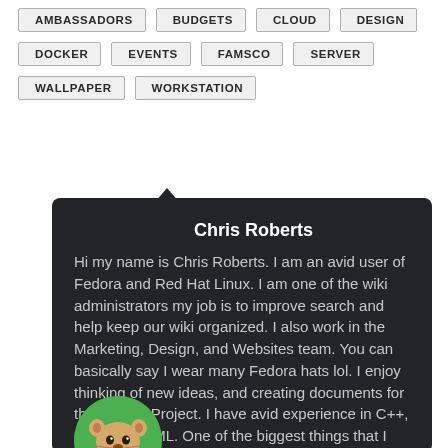AMBASSADORS  BUDGETS  CLOUD  DESIGN
DOCKER  EVENTS  FAMSCO  SERVER
WALLPAPER  WORKSTATION
Chris Roberts
Hi my name is Chris Roberts. I am an avid user of Fedora and Red Hat Linux. I am one of the wiki administrators my job is to improve search and help keep our wiki organized. I also work in the Marketing, Design, and Websites team. You can basically say I wear many Fedora hats lol. I enjoy thinking of new ideas, and creating documents for the Fedora Project. I have avid experience in C++, C, Java, HTML. One of the biggest things that I enjoy is helping people learn Fedora, and trying to resolve any issues
[Figure (illustration): Avatar icon of a cartoon animal character (Tom Nook from Animal Crossing) with a green circle background]